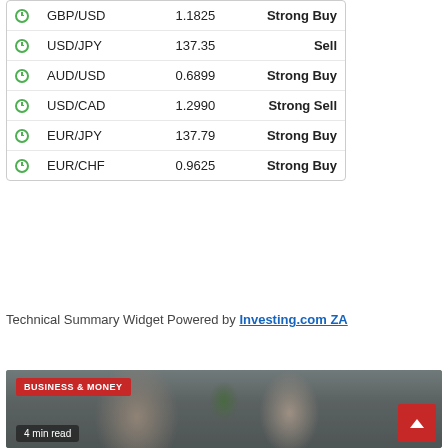|  | Pair | Price | Signal |
| --- | --- | --- | --- |
|  | GBP/USD | 1.1825 | Strong Buy |
|  | USD/JPY | 137.35 | Sell |
|  | AUD/USD | 0.6899 | Strong Buy |
|  | USD/CAD | 1.2990 | Strong Sell |
|  | EUR/JPY | 137.79 | Strong Buy |
|  | EUR/CHF | 0.9625 | Strong Buy |
Technical Summary Widget Powered by Investing.com ZA
[Figure (photo): Photo of two business people high-fiving across a desk with a laptop, with a 'BUSINESS & MONEY' badge overlay and '4 min read' label at the bottom]